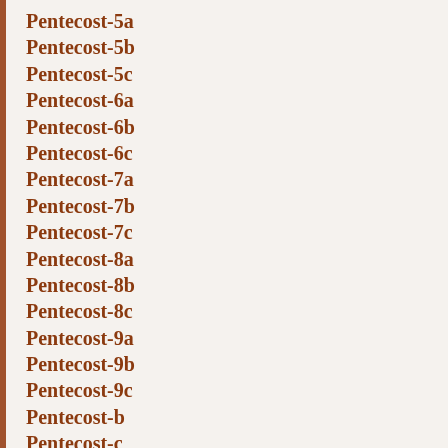Pentecost-5a
Pentecost-5b
Pentecost-5c
Pentecost-6a
Pentecost-6b
Pentecost-6c
Pentecost-7a
Pentecost-7b
Pentecost-7c
Pentecost-8a
Pentecost-8b
Pentecost-8c
Pentecost-9a
Pentecost-9b
Pentecost-9c
Pentecost-b
Pentecost-c
Pentecost Eve
Pentecost Monday